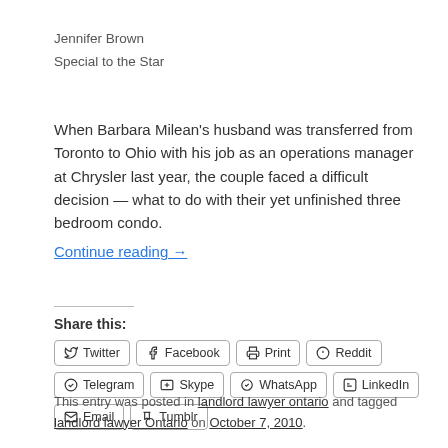Jennifer Brown
Special to the Star
When Barbara Milean's husband was transferred from Toronto to Ohio with his job as an operations manager at Chrysler last year, the couple faced a difficult decision — what to do with their yet unfinished three bedroom condo. Continue reading →
Share this:
Twitter  Facebook  Print  Reddit  Telegram  Skype  WhatsApp  LinkedIn  Email  Tumblr
This entry was posted in landlord lawyer ontario and tagged landlord lawyer Ontario on October 7, 2010.